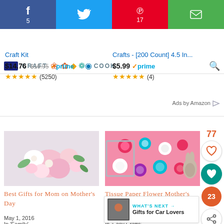[Figure (screenshot): Social share bar with Facebook (5), Twitter, Pinterest (17), and email buttons]
[Figure (screenshot): Navigation strip with hamburger menu and CRAFT COOK text]
Craft Kit — $14.76 $16.95 prime (5250) | Crafts - [200 Count] 4.5 In... — $5.99 prime (4)
Ads by Amazon
[Figure (photo): Pink and white floral bouquet on light background]
Best Gifts for Mom on Mother's Day
May 1, 2016
In 'Family'
[Figure (photo): Tissue paper flowers on pink canvas with rabbit figurine]
Tissue Paper Flower Mother's Day Canvas
April 16, 2017
In 'Easy Crafts'
WHAT'S NEXT → Gifts for Car Lovers